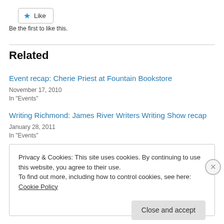[Figure (other): Like button with blue star icon and 'Like' text, bordered rounded rectangle]
Be the first to like this.
Related
Event recap: Cherie Priest at Fountain Bookstore
November 17, 2010
In "Events"
Writing Richmond: James River Writers Writing Show recap
January 28, 2011
In "Events"
Privacy & Cookies: This site uses cookies. By continuing to use this website, you agree to their use.
To find out more, including how to control cookies, see here: Cookie Policy
Close and accept